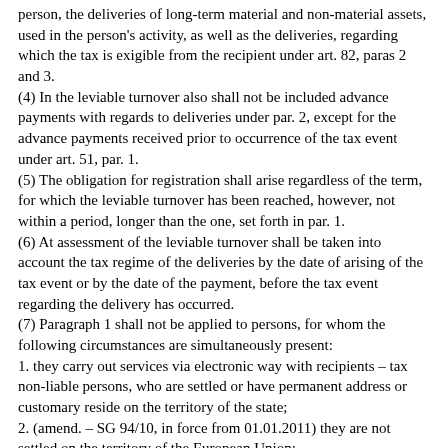person, the deliveries of long-term material and non-material assets, used in the person's activity, as well as the deliveries, regarding which the tax is exigible from the recipient under art. 82, paras 2 and 3.
(4) In the leviable turnover also shall not be included advance payments with regards to deliveries under par. 2, except for the advance payments received prior to occurrence of the tax event under art. 51, par. 1.
(5) The obligation for registration shall arise regardless of the term, for which the leviable turnover has been reached, however, not within a period, longer than the one, set forth in par. 1.
(6) At assessment of the leviable turnover shall be taken into account the tax regime of the deliveries by the date of arising of the tax event or by the date of the payment, before the tax event regarding the delivery has occurred.
(7) Paragraph 1 shall not be applied to persons, for whom the following circumstances are simultaneously present:
1. they carry out services via electronic way with recipients – tax non-liable persons, who are settled or have permanent address or customary reside on the territory of the state;
2. (amend. – SG 94/10, in force from 01.01.2011) they are not settled on the territory of the European Union;
3. they are registered for the purposes of VAT regarding their activity under item 1 in another Member State.
(8) (suppl. – SG 108/07, in force from 19.12.2007; amend. – SG 15/16, in force from 01.01.2016) Regardless of registration in